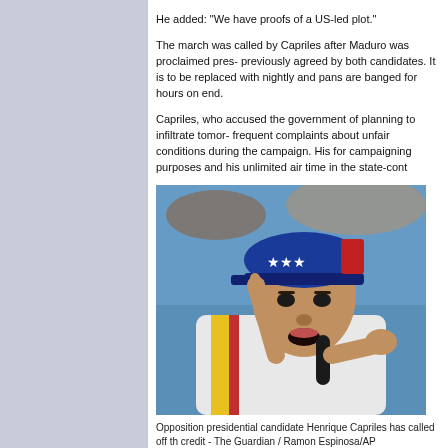He added: "We have proofs of a US-led plot."
The march was called by Capriles after Maduro was proclaimed pres- previously agreed by both candidates. It is to be replaced with nightly and pans are banged for hours on end.
Capriles, who accused the government of planning to infiltrate tomor- frequent complaints about unfair conditions during the campaign. His for campaigning purposes and his unlimited air time in the state-cont
[Figure (photo): Opposition presidential candidate Henrique Capriles wearing a Venezuelan flag baseball cap, pointing with one finger and speaking into a microphone at a press conference.]
Opposition presidential candidate Henrique Capriles has called off th credit - The Guardian / Ramon Espinosa/AP